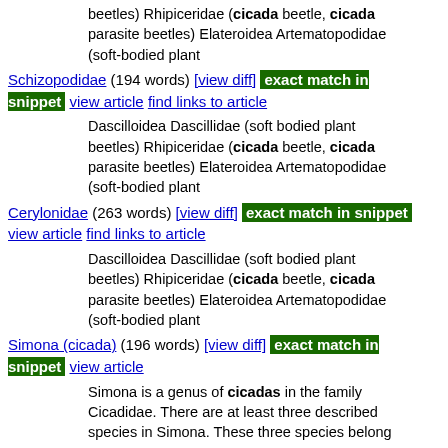beetles) Rhipiceridae (cicada beetle, cicada parasite beetles) Elateroidea Artematopodidae (soft-bodied plant
Schizopodidae (194 words) [view diff] exact match in snippet view article find links to article
Dascilloidea Dascillidae (soft bodied plant beetles) Rhipiceridae (cicada beetle, cicada parasite beetles) Elateroidea Artematopodidae (soft-bodied plant
Cerylonidae (263 words) [view diff] exact match in snippet view article find links to article
Dascilloidea Dascillidae (soft bodied plant beetles) Rhipiceridae (cicada beetle, cicada parasite beetles) Elateroidea Artematopodidae (soft-bodied plant
Simona (cicada) (196 words) [view diff] exact match in snippet view article
Simona is a genus of cicadas in the family Cicadidae. There are at least three described species in Simona. These three species belong